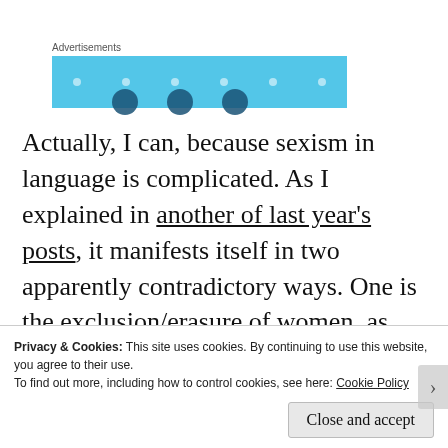[Figure (other): Advertisements banner with light blue background and decorative dots and circles]
Actually, I can, because sexism in language is complicated. As I explained in another of last year's posts, it manifests itself in two apparently contradictory ways. One is the exclusion/erasure of women, as with the
Privacy & Cookies: This site uses cookies. By continuing to use this website, you agree to their use.
To find out more, including how to control cookies, see here: Cookie Policy
Close and accept